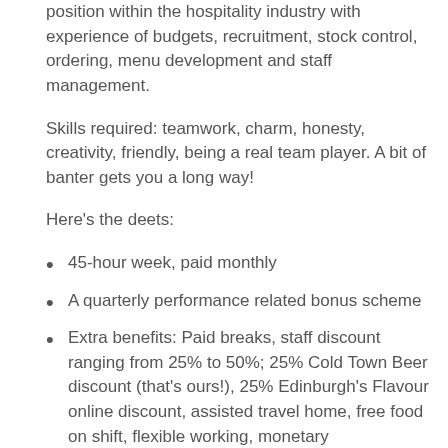position within the hospitality industry with experience of budgets, recruitment, stock control, ordering, menu development and staff management.
Skills required: teamwork, charm, honesty, creativity, friendly, being a real team player. A bit of banter gets you a long way!
Here's the deets:
45-hour week, paid monthly
A quarterly performance related bonus scheme
Extra benefits: Paid breaks, staff discount ranging from 25% to 50%; 25% Cold Town Beer discount (that's ours!), 25% Edinburgh's Flavour online discount, assisted travel home, free food on shift, flexible working, monetary